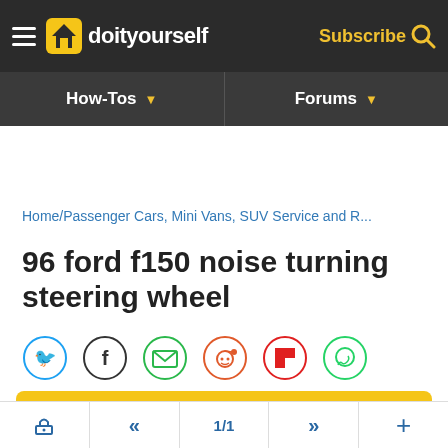doityourself — Subscribe
How-Tos | Forums
Home/Passenger Cars, Mini Vans, SUV Service and R...
96 ford f150 noise turning steering wheel
[Figure (infographic): Social sharing icons row: Twitter (blue circle), Facebook (dark circle), Email (green circle), Reddit (orange circle), Flipboard (red circle), WhatsApp (green circle)]
Closed Thread
ADVERTISEMENT
🔒  «  1/1  »  +